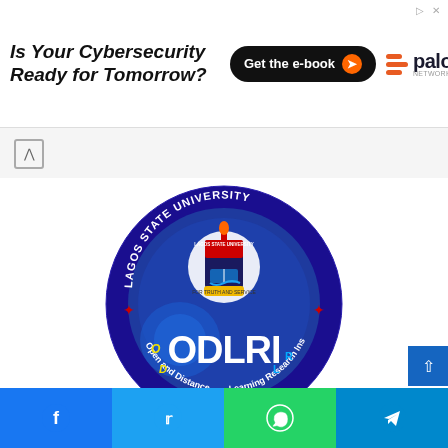[Figure (infographic): Advertisement banner: 'Is Your Cybersecurity Ready for Tomorrow? Get the e-book' with Palo Alto Networks logo]
[Figure (logo): Lagos State University ODLRI circular logo — blue circle with 'LAGOS STATE UNIVERSITY' around top, university crest in center, 'ODLRI' in large white text, 'Open and Distance Learning Research Institute' around bottom]
Home / Education
[Figure (infographic): Social share bar with Facebook, Twitter, WhatsApp, and Telegram buttons]